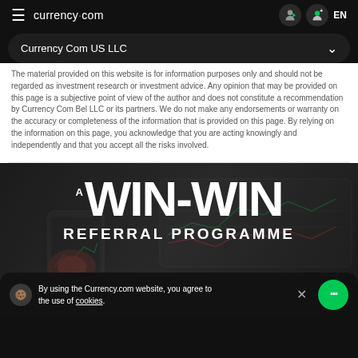currency.com  EN
Currency Com US LLC
The material provided on this website is for information purposes only and should not be regarded as investment research or investment advice. Any opinion that may be provided on this page is a subjective point of view of the author and does not constitute a recommendation by Currency Com Bel LLC or its partners. We do not make any endorsements or warranty on the accuracy or completeness of the information that is provided on this page. By relying on the information on this page, you acknowledge that you are acting knowingly and independently and that you accept all the risks involved.
[Figure (illustration): A WIN-WIN REFERRAL PROGRAMME banner with dark background and trading chart overlay]
By using the Currency.com website, you agree to the use of cookies.